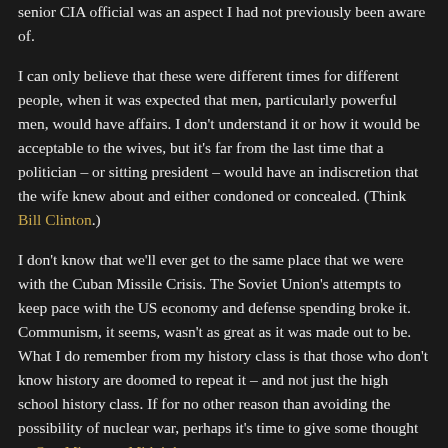senior CIA official was an aspect I had not previously been aware of.
I can only believe that these were different times for different people, when it was expected that men, particularly powerful men, would have affairs. I don't understand it or how it would be acceptable to the wives, but it's far from the last time that a politician – or sitting president – would have an indiscretion that the wife knew about and either condoned or concealed. (Think Bill Clinton.)
I don't know that we'll ever get to the same place that we were with the Cuban Missile Crisis. The Soviet Union's attempts to keep pace with the US economy and defense spending broke it. Communism, it seems, wasn't as great as it was made out to be. What I do remember from my history class is that those who don't know history are doomed to repeat it – and not just the high school history class. If for no other reason than avoiding the possibility of nuclear war, perhaps it's time to give some thought to One Minute to Midnight